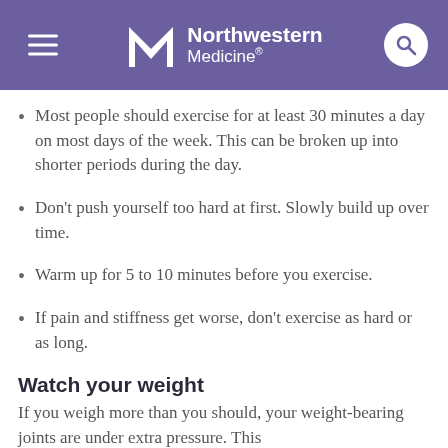Northwestern Medicine
Most people should exercise for at least 30 minutes a day on most days of the week. This can be broken up into shorter periods during the day.
Don't push yourself too hard at first. Slowly build up over time.
Warm up for 5 to 10 minutes before you exercise.
If pain and stiffness get worse, don't exercise as hard or as long.
Watch your weight
If you weigh more than you should, your weight-bearing joints are under extra pressure. This